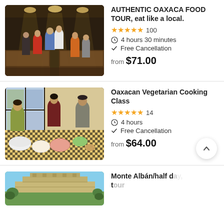[Figure (photo): Crowded indoor market with people browsing food stalls, warm lighting from overhead lights]
AUTHENTIC OAXACA FOOD TOUR, eat like a local.
★★★★★ 100
4 hours 30 minutes
Free Cancellation
from $71.00
[Figure (photo): Women preparing food in a kitchen with ingredients and bowls on a table, cooking class setting]
Oaxacan Vegetarian Cooking Class
★★★★★ 14
4 hours
Free Cancellation
from $64.00
[Figure (photo): Monte Albán ruins with ancient stone pyramid structure against blue sky]
Monte Albán/half day, tour